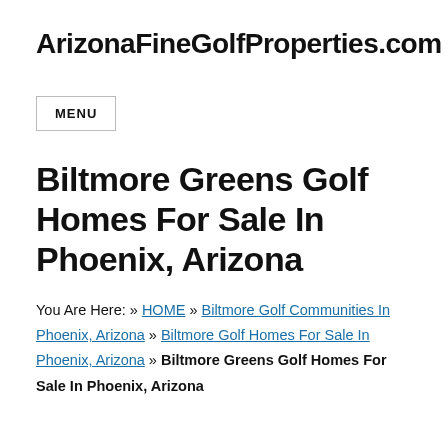ArizonaFineGolfProperties.com
MENU
Biltmore Greens Golf Homes For Sale In Phoenix, Arizona
You Are Here: » HOME » Biltmore Golf Communities In Phoenix, Arizona » Biltmore Golf Homes For Sale In Phoenix, Arizona » Biltmore Greens Golf Homes For Sale In Phoenix, Arizona